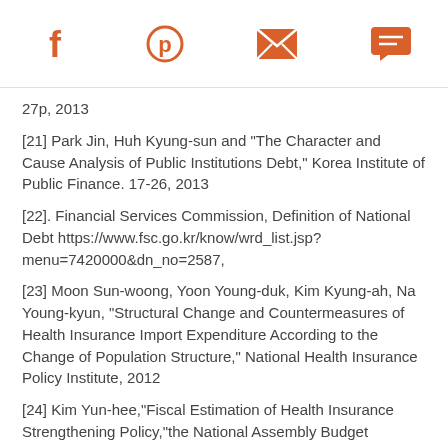Social media icons: Facebook, Pinterest, Email, Chat
27p, 2013
[21] Park Jin, Huh Kyung-sun and "The Character and Cause Analysis of Public Institutions Debt," Korea Institute of Public Finance. 17-26, 2013
[22]. Financial Services Commission, Definition of National Debt https://www.fsc.go.kr/know/wrd_list.jsp?menu=7420000&dn_no=2587,
[23] Moon Sun-woong, Yoon Young-duk, Kim Kyung-ah, Na Young-kyun, "Structural Change and Countermeasures of Health Insurance Import Expenditure According to the Change of Population Structure," National Health Insurance Policy Institute, 2012
[24] Kim Yun-hee,"Fiscal Estimation of Health Insurance Strengthening Policy,"the National Assembly Budget Office,Summary,9,10p,Body,3,4,19,22,p,201